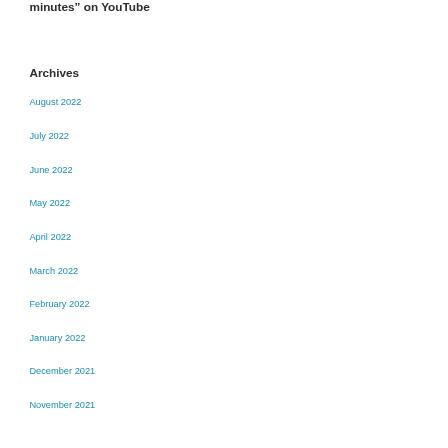minutes” on YouTube
Archives
August 2022
July 2022
June 2022
May 2022
April 2022
March 2022
February 2022
January 2022
December 2021
November 2021